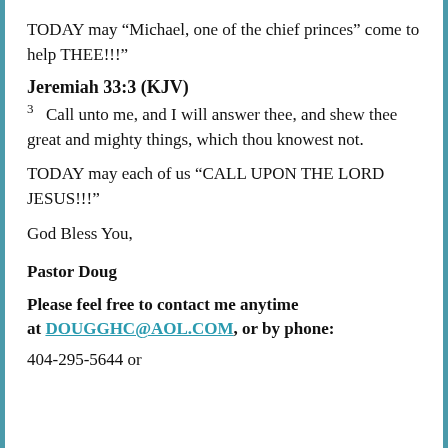TODAY may “Michael, one of the chief princes” come to help THEE!!!”
Jeremiah 33:3 (KJV)
3  Call unto me, and I will answer thee, and shew thee great and mighty things, which thou knowest not.
TODAY may each of us “CALL UPON THE LORD JESUS!!!”
God Bless You,
Pastor Doug
Please feel free to contact me anytime at DOUGGHC@AOL.COM, or by phone:
404-295-5644 or